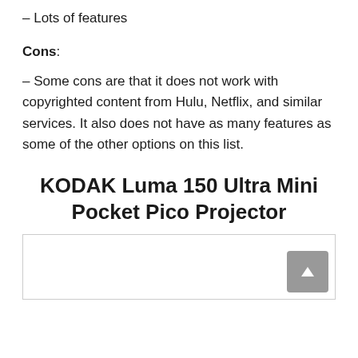– Lots of features
Cons:
– Some cons are that it does not work with copyrighted content from Hulu, Netflix, and similar services. It also does not have as many features as some of the other options on this list.
KODAK Luma 150 Ultra Mini Pocket Pico Projector
[Figure (photo): Product image area with scroll-to-top button in bottom right corner]